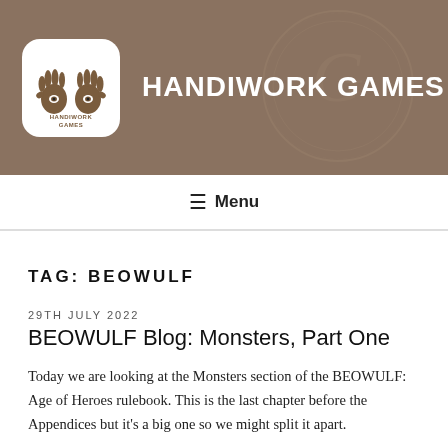[Figure (logo): Handiwork Games website header with logo (two hands with eyes, rounded square white background) and site title HANDIWORK GAMES on brown/taupe background with decorative medallion watermark]
≡ Menu
TAG: BEOWULF
29TH JULY 2022
BEOWULF Blog: Monsters, Part One
Today we are looking at the Monsters section of the BEOWULF: Age of Heroes rulebook. This is the last chapter before the Appendices but it's a big one so we might split it apart.